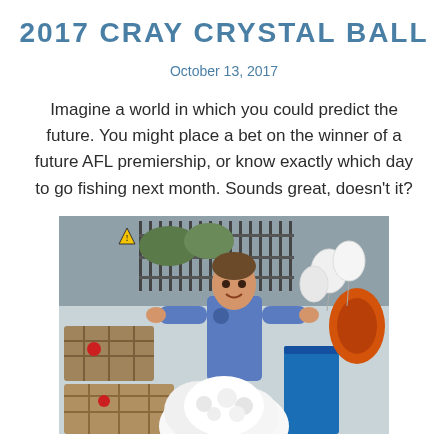2017 CRAY CRYSTAL BALL
October 13, 2017
Imagine a world in which you could predict the future. You might place a bet on the winner of a future AFL premiership, or know exactly which day to go fishing next month. Sounds great, doesn't it?
[Figure (photo): A man in a blue polo shirt leans against cray fishing pots/traps outdoors at a dock. Balloons and orange equipment are visible in the background. A fluffy white figure is in the foreground.]